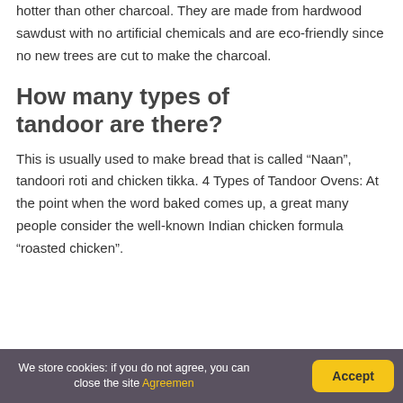hotter than other charcoal. They are made from hardwood sawdust with no artificial chemicals and are eco-friendly since no new trees are cut to make the charcoal.
How many types of tandoor are there?
This is usually used to make bread that is called “Naan”, tandoori roti and chicken tikka. 4 Types of Tandoor Ovens: At the point when the word baked comes up, a great many people consider the well-known Indian chicken formula “roasted chicken”.
We store cookies: if you do not agree, you can close the site Agreemen | Accept